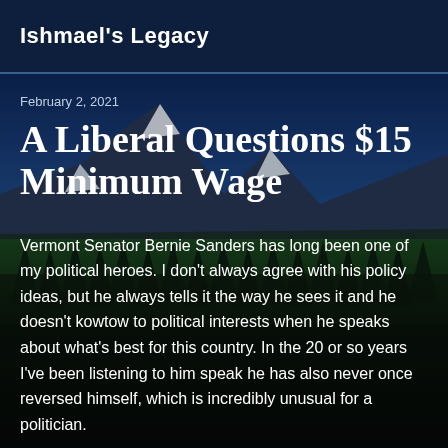Ishmael's Legacy
February 2, 2021
A Liberal Questions $15 Minimum Wage
[Figure (photo): Scenic mountain landscape with snow-capped peaks, dense evergreen forest, and a dark lake or river in the foreground against a deep blue sky.]
Vermont Senator Bernie Sanders has long been one of my political heroes. I don't always agree with his policy ideas, but he always tells it the way he sees it and he doesn't kowtow to political interests when he speaks about what's best for this country. In the 20 or so years I've been listening to him speak he has also never once reversed himself, which is incredibly unusual for a politician.